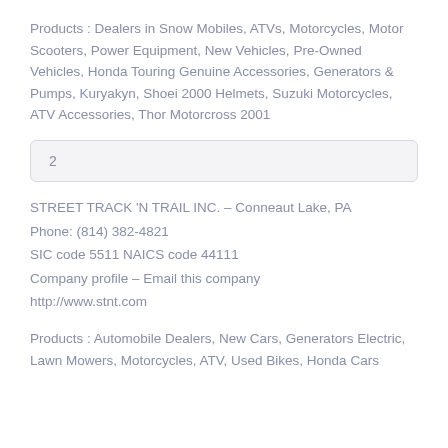Products : Dealers in Snow Mobiles, ATVs, Motorcycles, Motor Scooters, Power Equipment, New Vehicles, Pre-Owned Vehicles, Honda Touring Genuine Accessories, Generators & Pumps, Kuryakyn, Shoei 2000 Helmets, Suzuki Motorcycles, ATV Accessories, Thor Motorcross 2001
2
STREET TRACK 'N TRAIL INC. – Conneaut Lake, PA
Phone: (814) 382-4821
SIC code 5511 NAICS code 44111
Company profile – Email this company
http://www.stnt.com
Products : Automobile Dealers, New Cars, Generators Electric, Lawn Mowers, Motorcycles, ATV, Used Bikes, Honda Cars